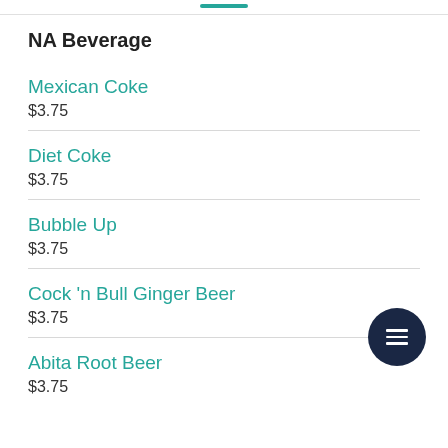NA Beverage
Mexican Coke
$3.75
Diet Coke
$3.75
Bubble Up
$3.75
Cock 'n Bull Ginger Beer
$3.75
Abita Root Beer
$3.75